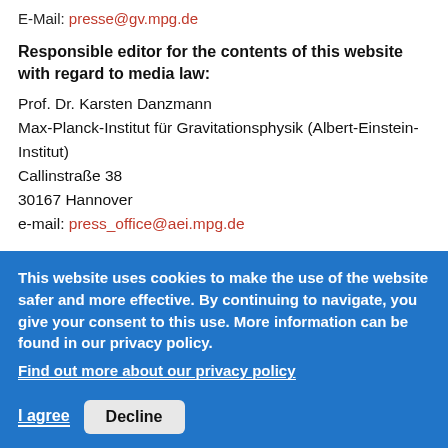E-Mail: presse@gv.mpg.de
Responsible editor for the contents of this website with regard to media law:
Prof. Dr. Karsten Danzmann
Max-Planck-Institut für Gravitationsphysik (Albert-Einstein-Institut)
Callinstraße 38
30167 Hannover
e-mail: press_office@aei.mpg.de
This website uses cookies to make the use of the website safer and more effective. By continuing to navigate, you give your consent to this use. More information can be found in our privacy policy.
Find out more about our privacy policy
I agree   Decline